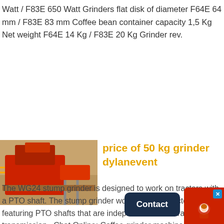Watt / F83E 650 Watt Grinders flat disk of diameter F64E 64 mm / F83E 83 mm Coffee bean container capacity 1,5 Kg Net weight F64E 14 Kg / F83E 20 Kg Grinder rev.
[Figure (other): Contact button (dark navy blue rounded rectangle) and chat widget (red background with chat icon and Chat Now label)]
[Figure (photo): Photo of a large red industrial grinder/crusher machine outdoors on sandy ground]
price of 50 kg grinder dylanevent
The WG24 stump grinder is designed to work on tractors with a PTO shaft. The stump grinder works best on tractors featuring PTO shafts that are independent of the tractors transmission . Chat Online; Coffee grinder machine with best price )YouTube. Jul 03 2016 Coffee grinder spice grinder machine 50-200mesh. Chat Online